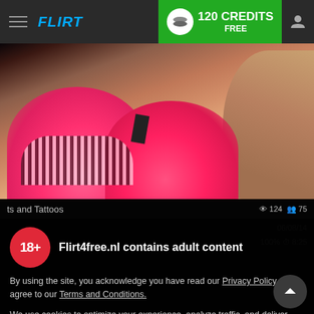FLIRT4FREE — 120 CREDITS FREE
[Figure (photo): Woman in pink bikini top with black and white zebra-stripe pattern, shot from shoulders down, against a light sky background.]
ts and Tattoos   👁 124  👥 75
Flirt4free.nl contains adult content
By using the site, you acknowledge you have read our Privacy Policy, and agree to our Terms and Conditions.
We use cookies to optimize your experience, analyze traffic, and deliver more personalized service. To learn more, please see our Privacy Policy.
I AGREE